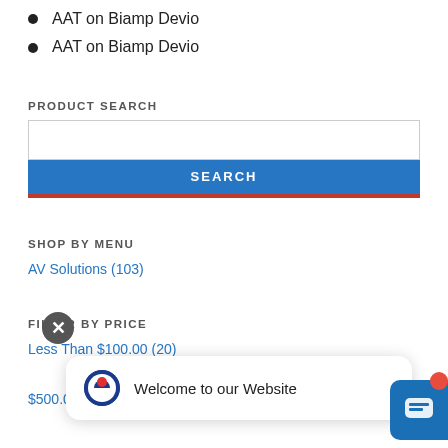AAT on Biamp Devio
AAT on Biamp Devio
PRODUCT SEARCH
SHOP BY MENU
AV Solutions (103)
FILTER BY PRICE
Less Than $100.00 (20)
$500.01 - $750.00 (7)
Welcome to our Website